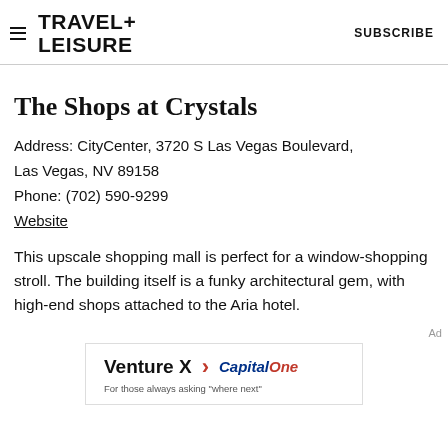TRAVEL+ LEISURE | SUBSCRIBE
The Shops at Crystals
Address: CityCenter, 3720 S Las Vegas Boulevard, Las Vegas, NV 89158
Phone: (702) 590-9299
Website
This upscale shopping mall is perfect for a window-shopping stroll. The building itself is a funky architectural gem, with high-end shops attached to the Aria hotel.
[Figure (logo): Capital One Venture X advertisement banner with text 'Venture X > Capital One For those always asking where next']